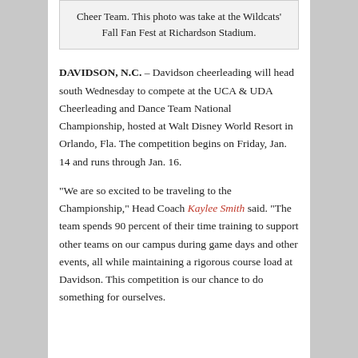Cheer Team. This photo was take at the Wildcats' Fall Fan Fest at Richardson Stadium.
DAVIDSON, N.C. – Davidson cheerleading will head south Wednesday to compete at the UCA & UDA Cheerleading and Dance Team National Championship, hosted at Walt Disney World Resort in Orlando, Fla. The competition begins on Friday, Jan. 14 and runs through Jan. 16.
“We are so excited to be traveling to the Championship,” Head Coach Kaylee Smith said. “The team spends 90 percent of their time training to support other teams on our campus during game days and other events, all while maintaining a rigorous course load at Davidson. This competition is our chance to do something for ourselves.